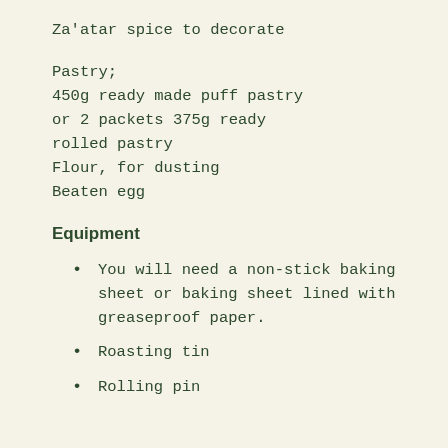Za'atar spice to decorate
Pastry;
450g ready made puff pastry or 2 packets 375g ready rolled pastry
Flour, for dusting
Beaten egg
Equipment
You will need a non-stick baking sheet or baking sheet lined with greaseproof paper.
Roasting tin
Rolling pin